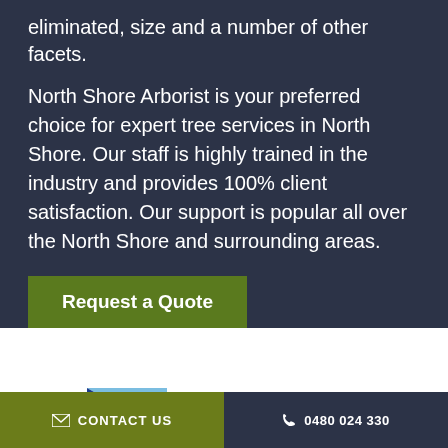eliminated, size and a number of other facets.
North Shore Arborist is your preferred choice for expert tree services in North Shore. Our staff is highly trained in the industry and provides 100% client satisfaction. Our support is popular all over the North Shore and surrounding areas.
Request a Quote
[Figure (logo): Hawkesbury City Council logo with blue and dark blue stylized H graphic and black bold text]
✉ CONTACT US
📞 0480 024 330